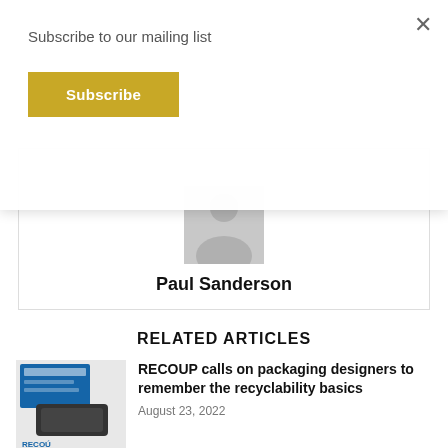Subscribe to our mailing list
Subscribe
×
[Figure (illustration): Generic user/person silhouette avatar placeholder in gray]
Paul Sanderson
RELATED ARTICLES
[Figure (photo): Thumbnail image showing a recyclability by design case study report cover and a black food tray, with RECOUP branding]
RECOUP calls on packaging designers to remember the recyclability basics
August 23, 2022